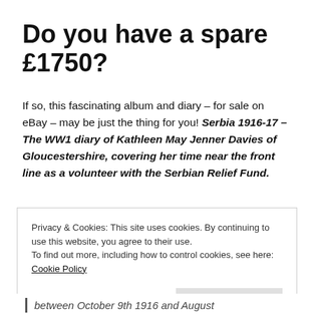Do you have a spare £1750?
If so, this fascinating album and diary – for sale on eBay – may be just the thing for you! Serbia 1916-17 – The WW1 diary of Kathleen May Jenner Davies of Gloucestershire, covering her time near the front line as a volunteer with the Serbian Relief Fund.
Privacy & Cookies: This site uses cookies. By continuing to use this website, you agree to their use.
To find out more, including how to control cookies, see here: Cookie Policy
between October 9th 1916 and August